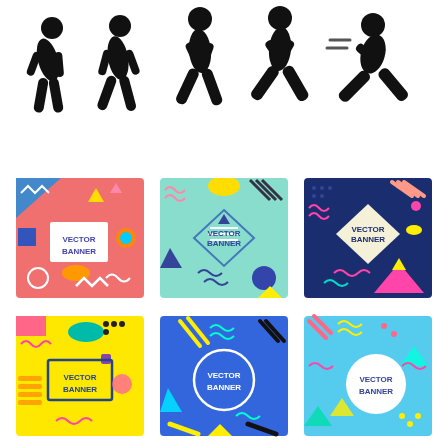[Figure (illustration): Five black stick figure icons showing progression from slow walking/hunched to fast running, arranged in a row from left to right on white background.]
[Figure (illustration): Six colorful Memphis-style vector banner templates arranged in 2 rows of 3. Each banner has geometric shapes, wavy lines, and text reading VECTOR BANNER. Top row: salmon/pink, mint/teal, dark navy. Bottom row: yellow, blue, light blue.]